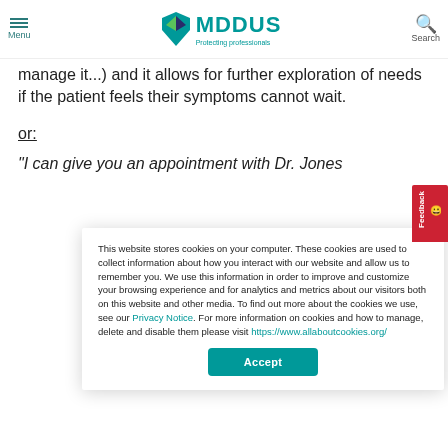MDDUS — Protecting professionals
manage it...) and it allows for further exploration of needs if the patient feels their symptoms cannot wait.
or:
"I can give you an appointment with Dr. Jones...
This website stores cookies on your computer. These cookies are used to collect information about how you interact with our website and allow us to remember you. We use this information in order to improve and customize your browsing experience and for analytics and metrics about our visitors both on this website and other media. To find out more about the cookies we use, see our Privacy Notice. For more information on cookies and how to manage, delete and disable them please visit https://www.allaboutcookies.org/